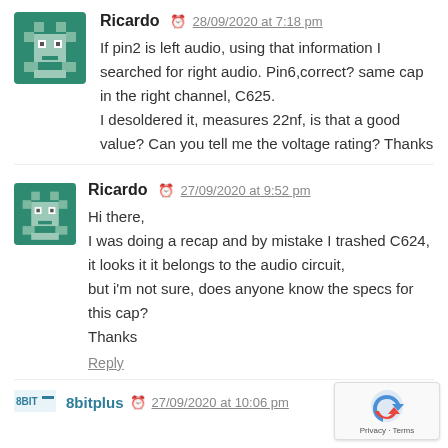[Figure (illustration): Green pixel-art avatar icon for user Ricardo]
Ricardo  28/09/2020 at 7:18 pm
If pin2 is left audio, using that information I searched for right audio. Pin6,correct? same cap in the right channel, C625.
I desoldered it, measures 22nf, is that a good value? Can you tell me the voltage rating? Thanks
[Figure (illustration): Green pixel-art avatar icon for user Ricardo (second comment)]
Ricardo  27/09/2020 at 9:52 pm
Hi there,
I was doing a recap and by mistake I trashed C624, it looks it it belongs to the audio circuit,
but i'm not sure, does anyone know the specs for this cap?
Thanks
Reply
8bitplus  27/09/2020 at 10:06 pm